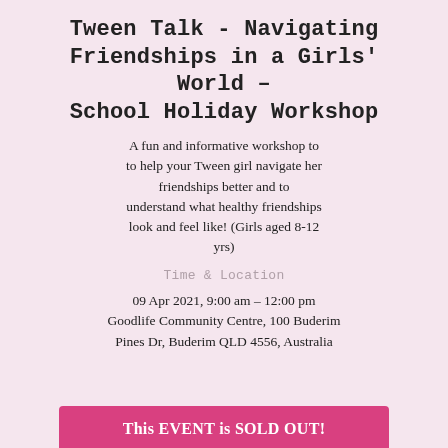Tween Talk - Navigating Friendships in a Girls' World - School Holiday Workshop
A fun and informative workshop to to help your Tween girl navigate her friendships better and to understand what healthy friendships look and feel like! (Girls aged 8-12 yrs)
Time & Location
09 Apr 2021, 9:00 am – 12:00 pm
Goodlife Community Centre, 100 Buderim Pines Dr, Buderim QLD 4556, Australia
This EVENT is SOLD OUT!